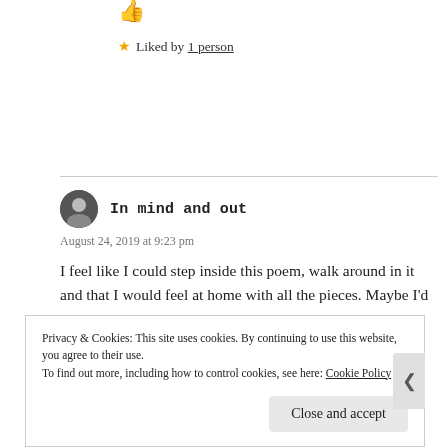[Figure (illustration): Thumbs up emoji icon]
★ Liked by 1 person
In mind and out
August 24, 2019 at 9:23 pm
I feel like I could step inside this poem, walk around in it and that I would feel at home with all the pieces. Maybe I'd
Privacy & Cookies: This site uses cookies. By continuing to use this website, you agree to their use.
To find out more, including how to control cookies, see here: Cookie Policy
Close and accept